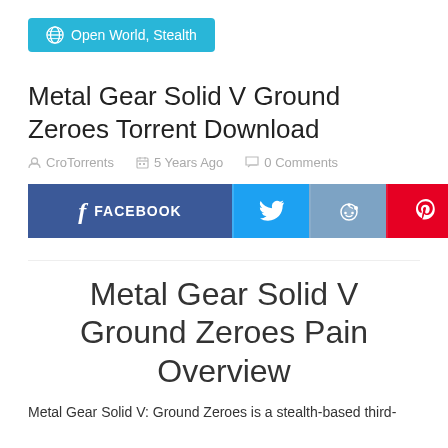[Figure (other): Tag badge: globe icon with text 'Open World, Stealth' on cyan/teal background]
Metal Gear Solid V Ground Zeroes Torrent Download
CroTorrents   5 Years Ago   0 Comments
[Figure (other): Social sharing buttons row: Facebook, Twitter, Reddit, Pinterest, Mix, Email]
Metal Gear Solid V Ground Zeroes Pain Overview
Metal Gear Solid V: Ground Zeroes is a stealth-based third-